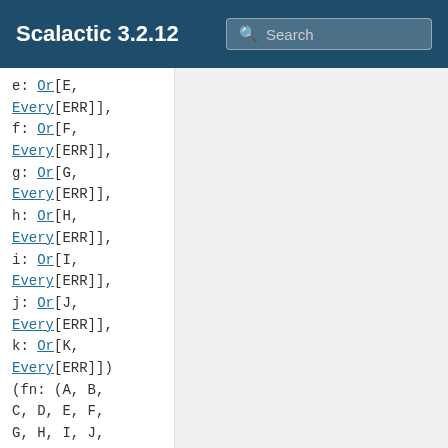Scalactic 3.2.12
e: Or[E, Every[ERR]],
f: Or[F, Every[ERR]],
g: Or[G, Every[ERR]],
h: Or[H, Every[ERR]],
i: Or[I, Every[ERR]],
j: Or[J, Every[ERR]],
k: Or[K, Every[ERR]])
(fn: (A, B, C, D, E, F, G, H, I, J, K) => RESULT): Or[RESULT, Every[ERR]]
Given 11 Good accumulating Ors, apply them